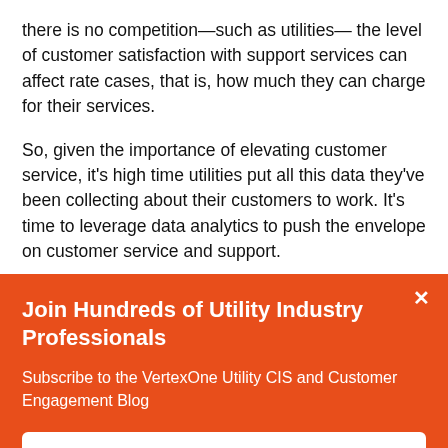there is no competition—such as utilities— the level of customer satisfaction with support services can affect rate cases, that is, how much they can charge for their services.
So, given the importance of elevating customer service, it's high time utilities put all this data they've been collecting about their customers to work. It's time to leverage data analytics to push the envelope on customer service and support.
Join Hundreds of Utility Industry Professionals
Subscribe to the VertexOne Utility CIS and Customer Engagement Blog
Subscribe Now